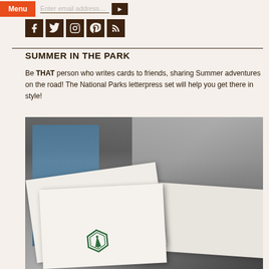Enter email address... [Menu button]
[Figure (illustration): Social media icons: Facebook, Twitter, Instagram, Pinterest, RSS feed — dark brown square icons]
SUMMER IN THE PARK
Be THAT person who writes cards to friends, sharing Summer adventures on the road! The National Parks letterpress set will help you get there in style!
[Figure (photo): Close-up photograph of National Parks letterpress cards and stationery. Shows white letterpress cards with a green hexagonal park emblem logo visible, arranged overlapping, with a black and white photo of a park building with stairs visible in the background, and what appears to be a blue scenic card on the left.]